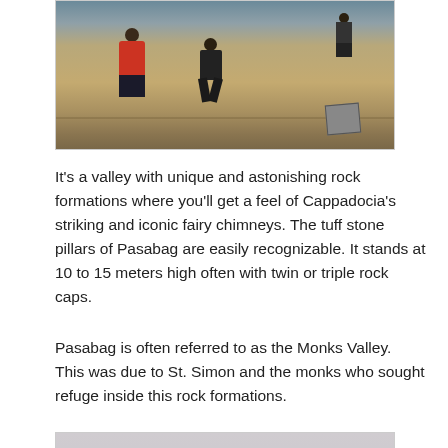[Figure (photo): People walking in a rocky, arid valley landscape with dry grass, viewed from a distance. Three figures visible, one in a red jacket.]
It's a valley with unique and astonishing rock formations where you'll get a feel of Cappadocia's striking and iconic fairy chimneys. The tuff stone pillars of Pasabag are easily recognizable. It stands at 10 to 15 meters high often with twin or triple rock caps.
Pasabag is often referred to as the Monks Valley.  This was due to St. Simon and the monks who sought refuge inside this rock formations.
[Figure (photo): A fairy chimney rock formation (tall tuff stone pillar with cap) next to a bare tree with spreading branches against a pale grey sky. Cappadocia, Turkey.]